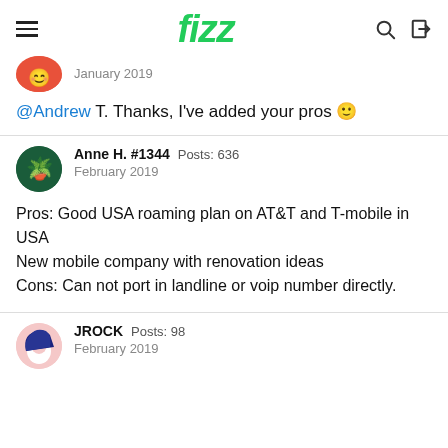fizz
January 2019
@Andrew T. Thanks, I've added your pros 🙂
Anne H. #1344  Posts: 636
February 2019
Pros: Good USA roaming plan on AT&T and T-mobile in USA
New mobile company with renovation ideas
Cons: Can not port in landline or voip number directly.
JROCK  Posts: 98
February 2019